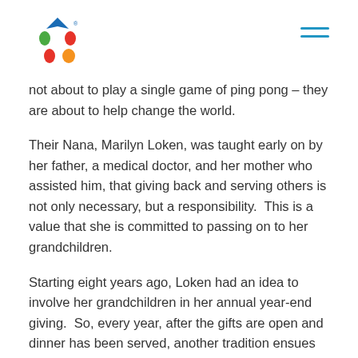[Logo: Starfish Family Services] [Hamburger menu icon]
not about to play a single game of ping pong – they are about to help change the world.
Their Nana, Marilyn Loken, was taught early on by her father, a medical doctor, and her mother who assisted him, that giving back and serving others is not only necessary, but a responsibility.  This is a value that she is committed to passing on to her grandchildren.
Starting eight years ago, Loken had an idea to involve her grandchildren in her annual year-end giving.  So, every year, after the gifts are open and dinner has been served, another tradition ensues at the Loken household. These kids help give Nana and Poppa's money away to causes they believe in